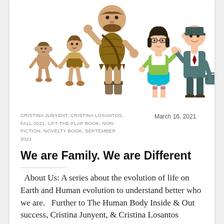[Figure (illustration): Illustration showing human evolution progression: from a small primitive creature, a child-like caveman figure, a tall adult caveman in animal skin clothing, a modern young girl with glasses in a green jacket and teal skirt, partially visible modern figure, and a businessman in a teal suit waving and holding a briefcase. Characters arranged left to right in increasing modernity.]
CRISTINA JUNYENT, CRISTINA LOSANTOS, FALL 2021, LIFT-THE-FLAP BOOK, NON-FICTION, NOVELTY BOOK, SEPTEMBER 2021
March 16, 2021
We are Family. We are Different
About Us: A series about the evolution of life on Earth and Human evolution to understand better who we are.   Further to The Human Body Inside & Out success, Cristina Junyent, & Cristina Losantos